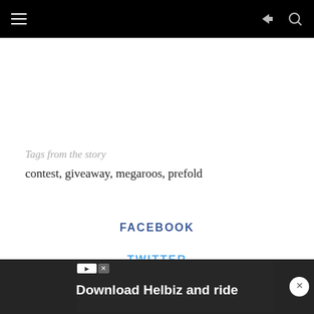Navigation bar with menu, share, and search icons
Tags from the story
contest, giveaway, megaroos, prefold
FACEBOOK
TWITTER
PINTEREST
[Figure (screenshot): Advertisement banner: Download Helbiz and ride with close button and ad badge icons]